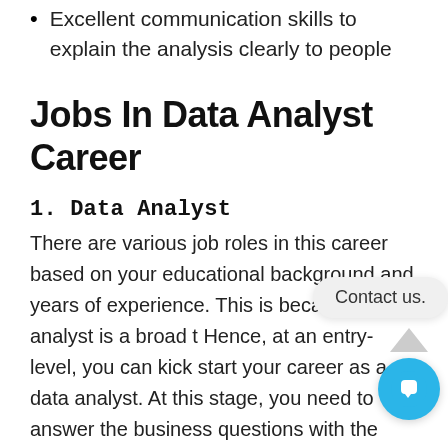Excellent communication skills to explain the analysis clearly to people
Jobs In Data Analyst Career
1. Data Analyst
There are various job roles in this career based on your educational background and years of experience. This is because data analyst is a broad t Hence, at an entry-level, you can kick start your career as a data analyst. At this stage, you need to answer the business questions with the available data. As a next career step, you can